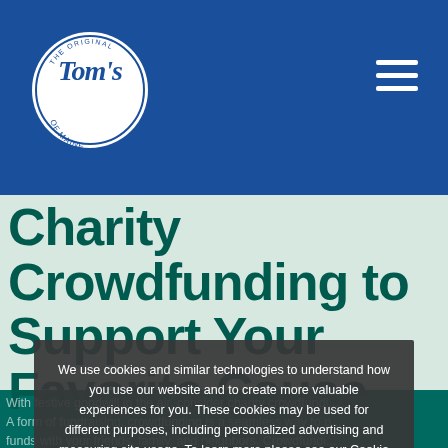Tom's of Maine
Charity Crowdfunding to Support Your Favorite Cause
We use cookies and similar technologies to understand how you use our website and to create more valuable experiences for you. These cookies may be used for different purposes, including personalized advertising and measuring site usage. To learn more please see our Cookie Policy. You can change your preferences at any time through our Cookie preferences tool.
With festive goodwill in the air, consider charity crowdfunding. A form of fundraising, crowdfunding is a seamless way to pool funds with your friends, family, and neighbors. Crowdfunding...